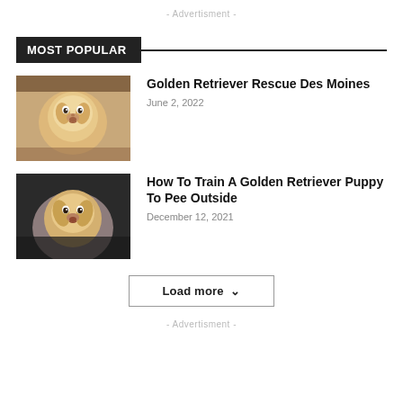- Advertisment -
MOST POPULAR
[Figure (photo): Golden retriever puppy sitting, looking at camera, light golden fur]
Golden Retriever Rescue Des Moines
June 2, 2022
[Figure (photo): Golden retriever puppy being held, looking at camera, light fur against dark background]
How To Train A Golden Retriever Puppy To Pee Outside
December 12, 2021
Load more ˅
- Advertisment -